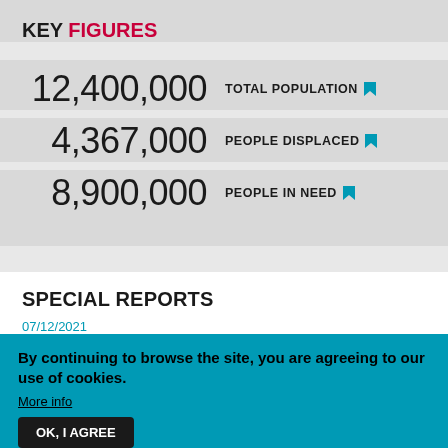KEY FIGURES
12,400,000   TOTAL POPULATION
4,367,000   PEOPLE DISPLACED
8,900,000   PEOPLE IN NEED
SPECIAL REPORTS
07/12/2021
By continuing to browse the site, you are agreeing to our use of cookies.
More info
OK, I AGREE